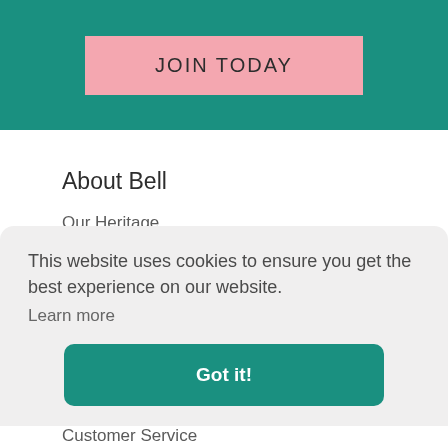[Figure (screenshot): Teal banner with a pink 'JOIN TODAY' button centered on it]
About Bell
Our Heritage
Calor Gas @ Bell
This website uses cookies to ensure you get the best experience on our website.
Learn more
Got it!
Customer Service